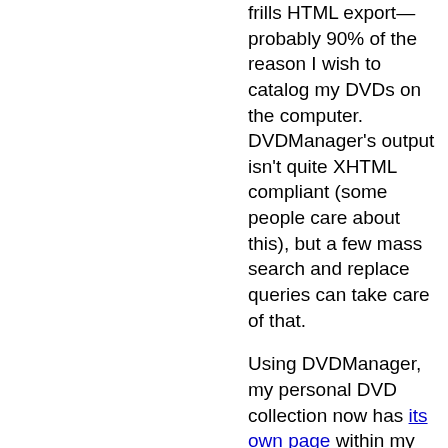frills HTML export—probably 90% of the reason I wish to catalog my DVDs on the computer. DVDManager's output isn't quite XHTML compliant (some people care about this), but a few mass search and replace queries can take care of that.
Using DVDManager, my personal DVD collection now has its own page within my weblog. If this style of export ever